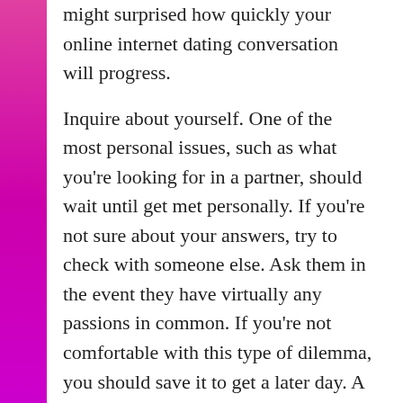might surprised how quickly your online internet dating conversation will progress.
Inquire about yourself. One of the most personal issues, such as what you're looking for in a partner, should wait until get met personally. If you're not sure about your answers, try to check with someone else. Ask them in the event they have virtually any passions in common. If you're not comfortable with this type of dilemma, you should save it to get a later day. A good way to start out an online online dating conversation is usually to ask them about their current do the job projects. Persons love to speak of the passions, thus they're usually more leisurely